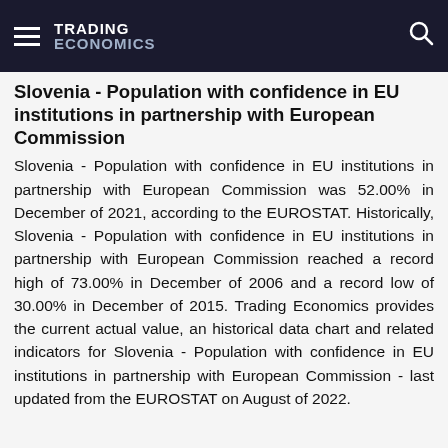TRADING ECONOMICS
Slovenia - Population with confidence in EU institutions in partnership with European Commission
Slovenia - Population with confidence in EU institutions in partnership with European Commission was 52.00% in December of 2021, according to the EUROSTAT. Historically, Slovenia - Population with confidence in EU institutions in partnership with European Commission reached a record high of 73.00% in December of 2006 and a record low of 30.00% in December of 2015. Trading Economics provides the current actual value, an historical data chart and related indicators for Slovenia - Population with confidence in EU institutions in partnership with European Commission - last updated from the EUROSTAT on August of 2022.